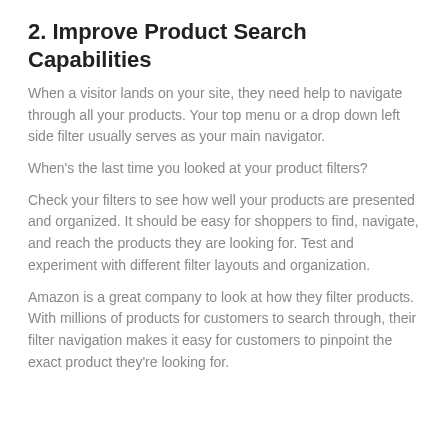2. Improve Product Search Capabilities
When a visitor lands on your site, they need help to navigate through all your products. Your top menu or a drop down left side filter usually serves as your main navigator.
When's the last time you looked at your product filters?
Check your filters to see how well your products are presented and organized. It should be easy for shoppers to find, navigate, and reach the products they are looking for. Test and experiment with different filter layouts and organization.
Amazon is a great company to look at how they filter products. With millions of products for customers to search through, their filter navigation makes it easy for customers to pinpoint the exact product they're looking for.